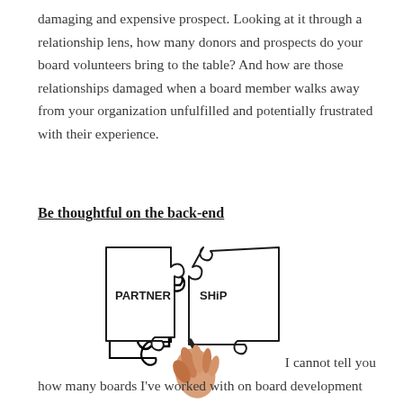damaging and expensive prospect. Looking at it through a relationship lens, how many donors and prospects do your board volunteers bring to the table? And how are those relationships damaged when a board member walks away from your organization unfulfilled and potentially frustrated with their experience.
Be thoughtful on the back-end
[Figure (illustration): Two puzzle pieces being connected by a hand holding a marker. The left piece is labeled 'PARTNER' and the right piece is labeled 'SHiP', together spelling 'PARTNERSHIP'.]
I cannot tell you how many boards I've worked with on board development and